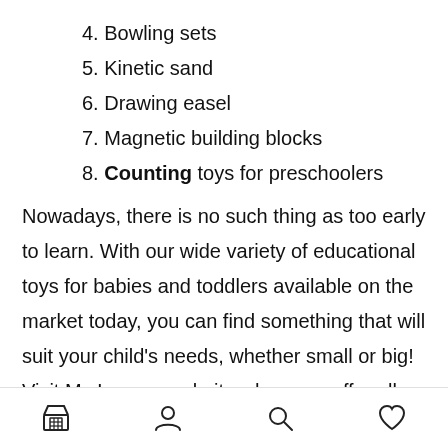4. Bowling sets
5. Kinetic sand
6. Drawing easel
7. Magnetic building blocks
8. Counting toys for preschoolers
Nowadays, there is no such thing as too early to learn. With our wide variety of educational toys for babies and toddlers available on the market today, you can find something that will suit your child's needs, whether small or big! Visit My Luxeve website where we offer all these great goods at
[navigation bar with store, profile, search, and heart icons]